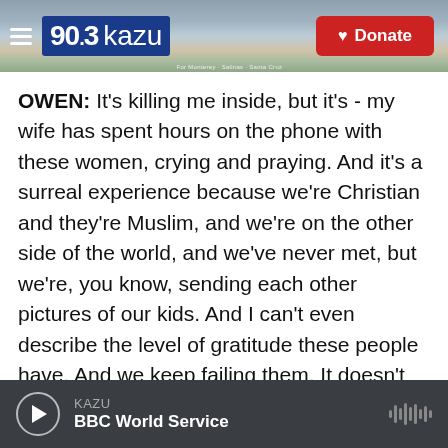[Figure (screenshot): KAZU 90.3 radio station header with logo, hamburger menu, coastal background image, and red Donate button]
OWEN: It's killing me inside, but it's - my wife has spent hours on the phone with these women, crying and praying. And it's a surreal experience because we're Christian and they're Muslim, and we're on the other side of the world, and we've never met, but we're, you know, sending each other pictures of our kids. And I can't even describe the level of gratitude these people have. And we keep failing them. It doesn't make any sense.
LAWRENCE: The network Owen works with estimates they helped 1,000 Afghans escape, but he says the story now is about those still left
KAZU  BBC World Service